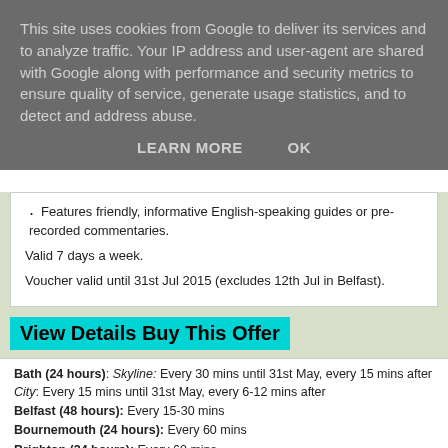This site uses cookies from Google to deliver its services and to analyze traffic. Your IP address and user-agent are shared with Google along with performance and security metrics to ensure quality of service, generate usage statistics, and to detect and address abuse.
LEARN MORE    OK
Features friendly, informative English-speaking guides or pre-recorded commentaries.
Valid 7 days a week.
Voucher valid until 31st Jul 2015 (excludes 12th Jul in Belfast).
View Details Buy This Offer
Bath (24 hours): Skyline: Every 30 mins until 31st May, every 15 mins after City: Every 15 mins until 31st May, every 6-12 mins after
Belfast (48 hours): Every 15-30 mins
Bournemouth (24 hours): Every 60 mins
Brighton (24 hours): Every 60 mins
Bristol (24 hours): Every 30-45 mins
Cambridge (24 hours): Every 20 mins
Cardiff (24 hours): Every 30 mins